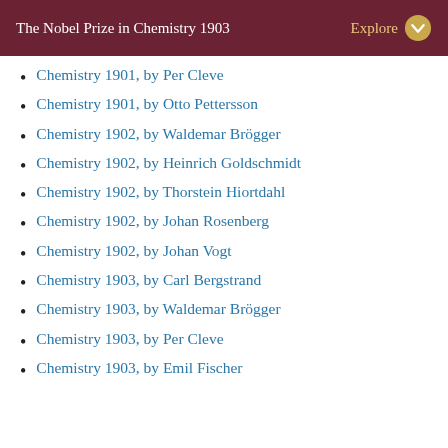The Nobel Prize in Chemistry 1903
Chemistry 1901, by Per Cleve
Chemistry 1901, by Otto Pettersson
Chemistry 1902, by Waldemar Brögger
Chemistry 1902, by Heinrich Goldschmidt
Chemistry 1902, by Thorstein Hiortdahl
Chemistry 1902, by Johan Rosenberg
Chemistry 1902, by Johan Vogt
Chemistry 1903, by Carl Bergstrand
Chemistry 1903, by Waldemar Brögger
Chemistry 1903, by Per Cleve
Chemistry 1903, by Emil Fischer